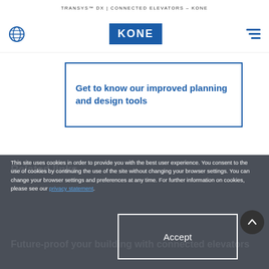TRANSYS™ DX | CONNECTED ELEVATORS – KONE
[Figure (logo): KONE logo in blue box with globe icon and hamburger menu]
Get to know our improved planning and design tools
This site uses cookies in order to provide you with the best user experience. You consent to the use of cookies by continuing the use of the site without changing your browser settings. You can change your browser settings and preferences at any time. For further information on cookies, please see our privacy statement.
Accept